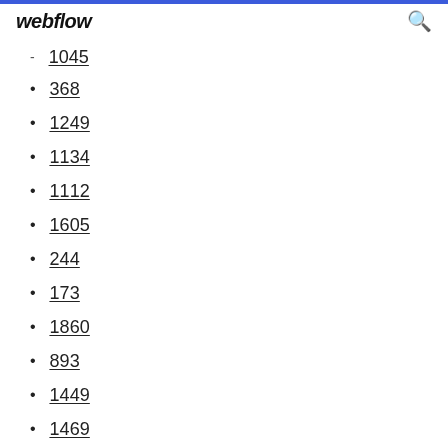webflow
1045
368
1249
1134
1112
1605
244
173
1860
893
1449
1469
1421